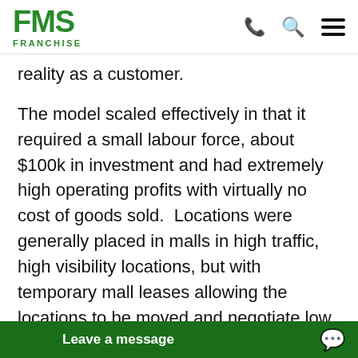FMS FRANCHISE
reality as a customer.
The model scaled effectively in that it required a small labour force, about $100k in investment and had extremely high operating profits with virtually no cost of goods sold.  Locations were generally placed in malls in high traffic, high visibility locations, but with temporary mall leases allowing the locations to be moved and negotiate low rents.  Later versions of the model developed
Leave a message